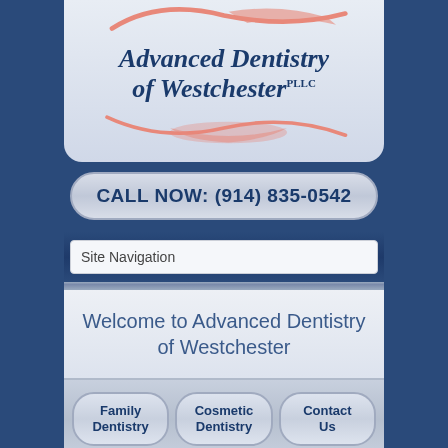[Figure (logo): Advanced Dentistry of Westchester PLLC logo with salmon/pink tooth/smile arc graphic above and below the text]
CALL NOW: (914) 835-0542
Site Navigation
Welcome to Advanced Dentistry of Westchester
Family Dentistry
Cosmetic Dentistry
Contact Us
[Figure (photo): Photo of a graduation cap (mortarboard) with blurred background]